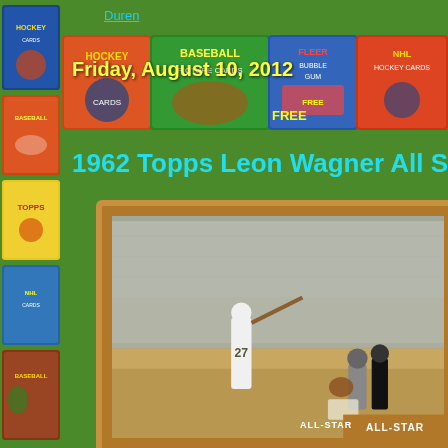Duren
Friday, August 10, 2012
1962 Topps Leon Wagner All S
[Figure (photo): Baseball card showing a batter (number 27) swinging at a pitch, with a catcher squatting behind home plate and a large crowd in the background. The card has a brown/gold frame with 'ALL-STAR' text at bottom right. The image appears to be a 1962 Topps baseball card.]
ALL-STAR